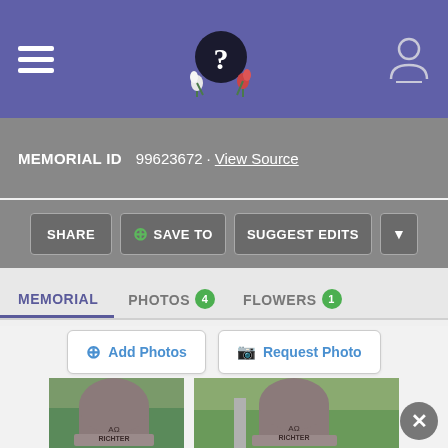Navigation header with hamburger menu, logo, and user icon
MEMORIAL ID  99623672 · View Source
SHARE  ⊕ SAVE TO  SUGGEST EDITS  ▼
MEMORIAL  PHOTOS 4  FLOWERS 1
⊕ Add Photos  📷 Request Photo
[Figure (photo): Two headstone photos of RICHTER gravestone in a cemetery, shown side by side]
✕ (close button)